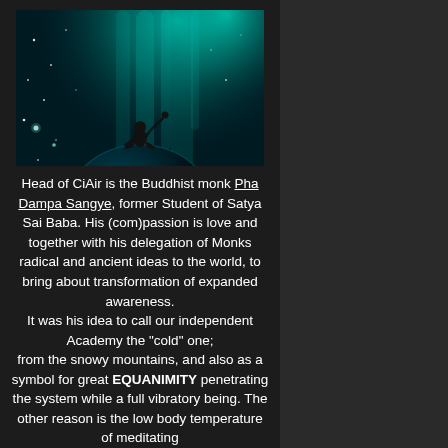[Figure (illustration): A silhouette of a person sitting on top of a globe (Earth) with one arm raised, set against a teal/green cosmic aurora background with stars]
Head of CiAir is the Buddhist monk Pha Dampa Sangye, former Student of Satya Sai Baba. His (com)passion is love and together with his delegation of Monks radical and ancient ideas to the world, to bring about transformation of expanded awareness. It was his idea to call our independent Academy the "cold" one; from the snowy mountains, and also as a symbol for great EQUANIMITY penetrating the system while a full vibratory being. The other reason is the low body temperature of meditating